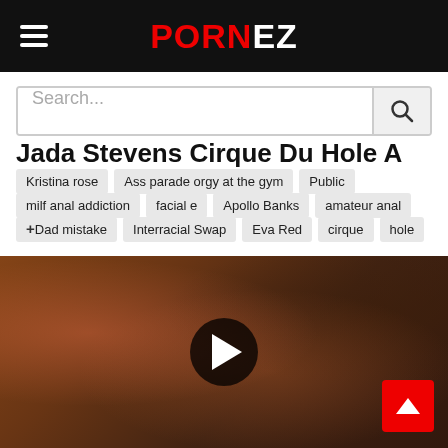PORNEZ
Search...
Jada Stevens Cirque Du Hole A avi
Kristina rose
Ass parade orgy at the gym
Public
milf anal addiction
facial e
Apollo Banks
amateur anal
+Dad mistake
Interracial Swap
Eva Red
cirque
hole
[Figure (photo): Video thumbnail showing adult content with play button overlay]